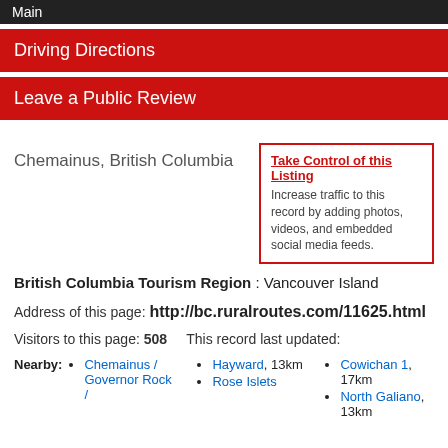Main
Driving Directions
Leave a Public Review
Chemainus, British Columbia
Take Control of this Listing
Increase traffic to this record by adding photos, videos, and embedded social media feeds.
British Columbia Tourism Region : Vancouver Island
Address of this page: http://bc.ruralroutes.com/11625.html
Visitors to this page: 508    This record last updated:
Nearby:
Chemainus / Governor Rock /
Hayward, 13km
Rose Islets
Cowichan 1, 17km
North Galiano, 13km